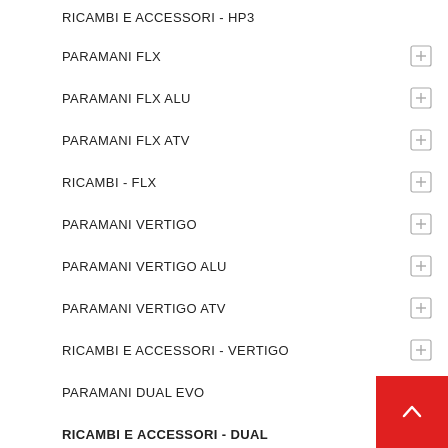RICAMBI E ACCESSORI - HP3
PARAMANI FLX
PARAMANI FLX ALU
PARAMANI FLX ATV
RICAMBI - FLX
PARAMANI VERTIGO
PARAMANI VERTIGO ALU
PARAMANI VERTIGO ATV
RICAMBI E ACCESSORI - VERTIGO
PARAMANI DUAL EVO
RICAMBI E ACCESSORI - DUAL
UNIVERSALE
PARAMANI RAPTOR
PARAMANI GLADIATOR EASY
PARAMANI GLADIATOR ALU